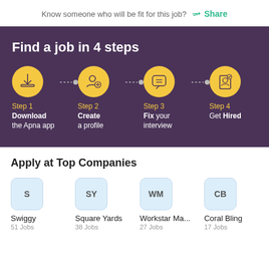Know someone who will be fit for this job?  Share
[Figure (infographic): Find a job in 4 steps infographic with yellow circles showing Step 1 Download the Apna app, Step 2 Create a profile, Step 3 Fix your interview, Step 4 Get Hired, connected by dashed lines]
Apply at Top Companies
Swiggy
51 Jobs
Square Yards
38 Jobs
Workstar Ma...
27 Jobs
Coral Bling
17 Jobs